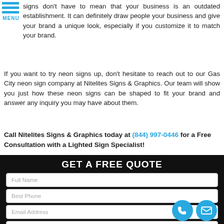signs don't have to mean that your business is an outdated establishment. It can definitely draw people your business and give your brand a unique look, especially if you customize it to match your brand.
If you want to try neon signs up, don't hesitate to reach out to our Gas City neon sign company at Nitelites Signs & Graphics. Our team will show you just how these neon signs can be shaped to fit your brand and answer any inquiry you may have about them.
Call Nitelites Signs & Graphics today at (844) 997-0446 for a Free Consultation with a Lighted Sign Specialist!
[Figure (infographic): GET A FREE QUOTE form with fields for Full Name, Best Phone, Email Address, and What type and size of signage do you need? with phone and email contact icons.]